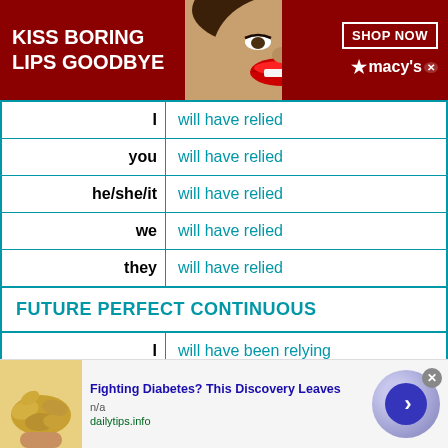[Figure (screenshot): Macy's advertisement banner: 'KISS BORING LIPS GOODBYE' with woman's face and 'SHOP NOW' button with Macy's logo on red background]
| I | will have relied |
| you | will have relied |
| he/she/it | will have relied |
| we | will have relied |
| they | will have relied |
| FUTURE PERFECT CONTINUOUS |  |
| I | will have been relying |
| you | will have been relying |
| he/she/it | will have been relying |
| we | will have been relying |
[Figure (screenshot): Advertisement: 'Fighting Diabetes? This Discovery Leaves' from dailytips.info with cashew nuts image and navigation button]